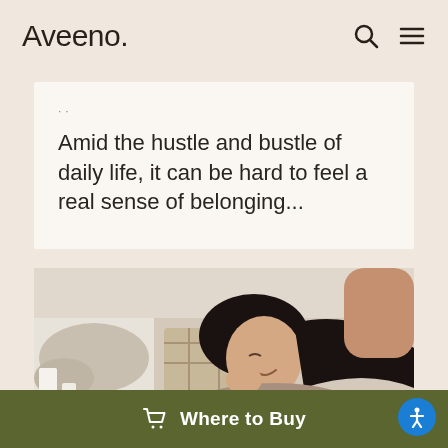Aveeno.
Amid the hustle and bustle of daily life, it can be hard to feel a real sense of belonging...
[Figure (photo): A young woman with dark hair lying on a bed, smiling and touching her face, in a cozy bedroom setting.]
Where to Buy